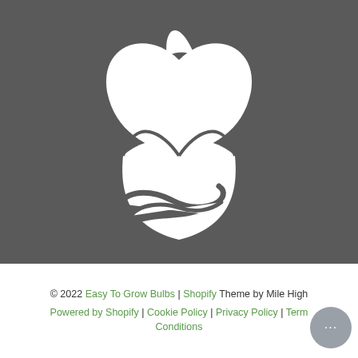[Figure (logo): White tulip/flower logo icon on dark grey background — a stylized tulip with petals and a hand/leaf shape at the base, white on grey.]
© 2022 Easy To Grow Bulbs | Shopify Theme by Mile High | Powered by Shopify | Cookie Policy | Privacy Policy | Terms & Conditions